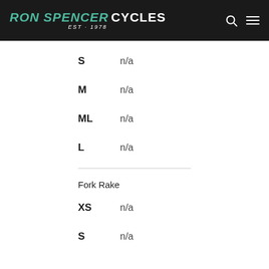RON SPENCER CYCLES EST·1978
S    n/a
M    n/a
ML   n/a
L    n/a
Fork Rake
XS   n/a
S    n/a